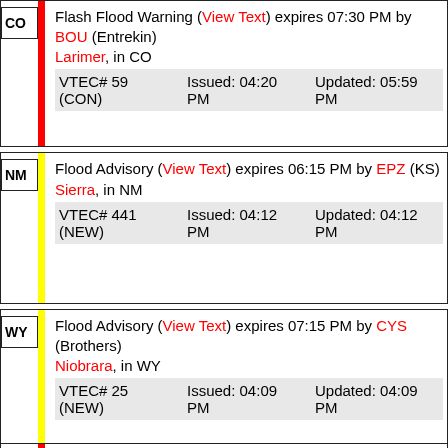CO Flash Flood Warning (View Text) expires 07:30 PM by BOU (Entrekin) Larimer, in CO VTEC# 59 (CON) Issued: 04:20 PM Updated: 05:59 PM
NM Flood Advisory (View Text) expires 06:15 PM by EPZ (KS) Sierra, in NM VTEC# 441 (NEW) Issued: 04:12 PM Updated: 04:12 PM
WY Flood Advisory (View Text) expires 07:15 PM by CYS (Brothers) Niobrara, in WY VTEC# 25 (NEW) Issued: 04:09 PM Updated: 04:09 PM